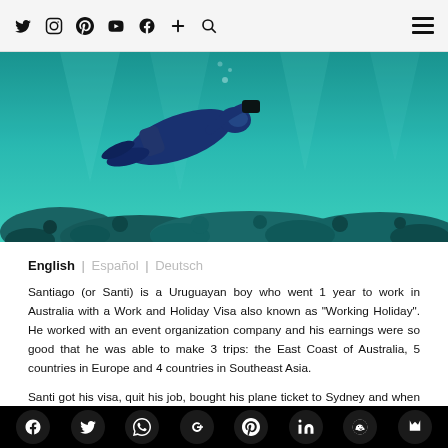Navigation bar with social icons: Twitter, Instagram, Pinterest, YouTube, Facebook, Plus, Search, and hamburger menu
[Figure (photo): Underwater photograph of a scuba diver swimming above a coral reef in turquoise/teal water]
English | Español | Deutsch
Santiago (or Santi) is a Uruguayan boy who went 1 year to work in Australia with a Work and Holiday Visa also known as "Working Holiday". He worked with an event organization company and his earnings were so good that he was able to make 3 trips: the East Coast of Australia, 5 countries in Europe and 4 countries in Southeast Asia.
Santi got his visa, quit his job, bought his plane ticket to Sydney and when he arrived he found a job in just 2 weeks!
Social share bar: Facebook, Twitter, WhatsApp, Google+, Pinterest, LinkedIn, Reddit, Crown/Bookmark